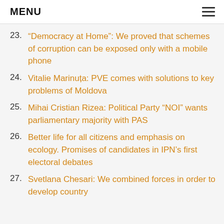MENU
23. “Democracy at Home”: We proved that schemes of corruption can be exposed only with a mobile phone
24. Vitalie Marinuța: PVE comes with solutions to key problems of Moldova
25. Mihai Cristian Rizea: Political Party “NOI” wants parliamentary majority with PAS
26. Better life for all citizens and emphasis on ecology. Promises of candidates in IPN’s first electoral debates
27. Svetlana Chesari: We combined forces in order to develop country